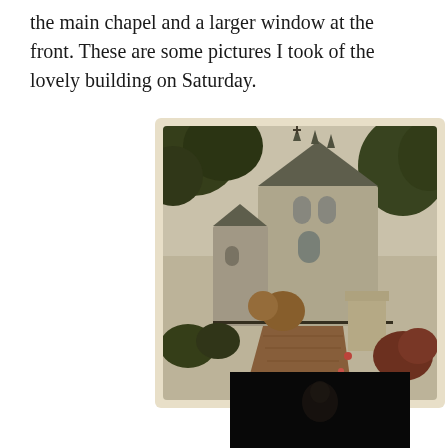the main chapel and a larger window at the front.  These are some pictures I took of the lovely building on Saturday.
[Figure (photo): A vintage-style photograph of a Gothic stone chapel with pointed spires, surrounded by trees and gardens with a brick pathway in the foreground and a stone monument/pedestal visible.]
[Figure (photo): A dark photograph, partially visible at the bottom of the page, showing a dimly lit subject against a black background.]